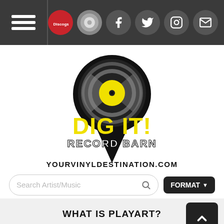Navigation bar with hamburger menu and social icons (Discogs, Record Store Day, Facebook, Twitter, Instagram, Email)
[Figure (logo): Dig It! Record Barn logo — a black map pin shape with a vinyl record inside (black record with grey/silver sections and yellow center label), yellow graffiti-style text 'DIG IT!' and below in white/black 'RECORD BARN', underneath in bold black caps 'YOURVINYLDESTINATION.COM']
Search Artist/Music
WHAT IS PLAYART?